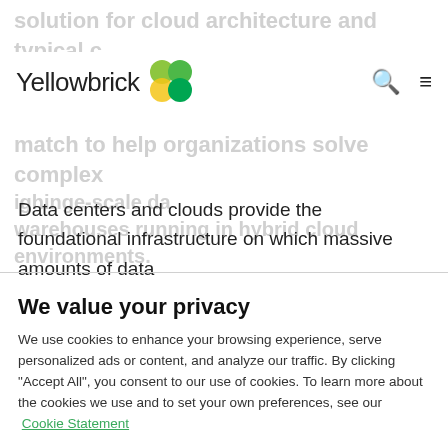Yellowbrick
Data centers and clouds provide the foundational infrastructure on which massive amounts of data
We value your privacy
We use cookies to enhance your browsing experience, serve personalized ads or content, and analyze our traffic. By clicking "Accept All", you consent to our use of cookies. To learn more about the cookies we use and to set your own preferences, see our Cookie Statement
Customize
Accept All